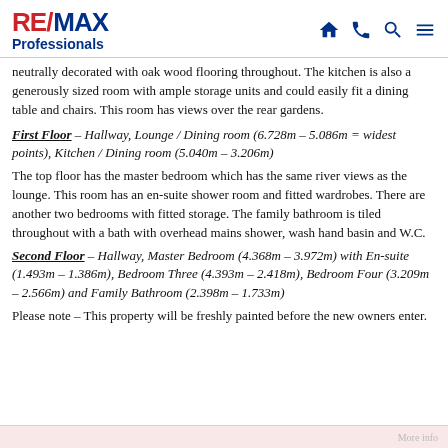RE/MAX Professionals
neutrally decorated with oak wood flooring throughout. The kitchen is also a generously sized room with ample storage units and could easily fit a dining table and chairs. This room has views over the rear gardens.
First Floor – Hallway, Lounge / Dining room (6.728m – 5.086m = widest points), Kitchen / Dining room (5.040m – 3.206m)
The top floor has the master bedroom which has the same river views as the lounge. This room has an en-suite shower room and fitted wardrobes. There are another two bedrooms with fitted storage. The family bathroom is tiled throughout with a bath with overhead mains shower, wash hand basin and W.C.
Second Floor – Hallway, Master Bedroom (4.368m – 3.972m) with En-suite (1.493m – 1.386m), Bedroom Three (4.393m – 2.418m), Bedroom Four (3.209m – 2.566m) and Family Bathroom (2.398m – 1.733m)
Please note – This property will be freshly painted before the new owners enter.